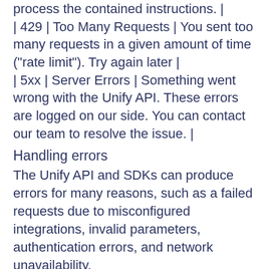process the contained instructions. |
| 429 | Too Many Requests | You sent too many requests in a given amount of time ("rate limit"). Try again later |
| 5xx | Server Errors | Something went wrong with the Unify API. These errors are logged on our side. You can contact our team to resolve the issue. |
Handling errors
The Unify API and SDKs can produce errors for many reasons, such as a failed requests due to misconfigured integrations, invalid parameters, authentication errors, and network unavailability.
Error Types
RequestValidationError
Request is not valid for the current endpoint. The response body will include details on the validation error. Check the spelling and types of your attributes,